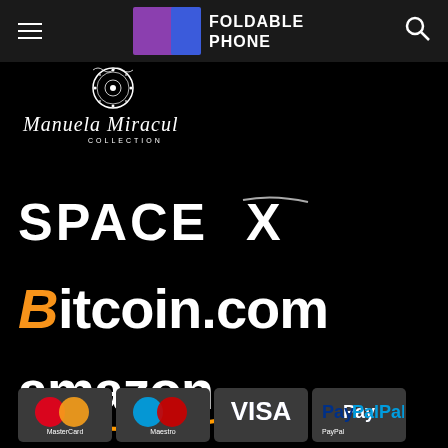FOLDABLE PHONE
[Figure (logo): Manuela Miracul Collection logo — ornate circular emblem above cursive script text]
[Figure (logo): SpaceX logo in white on black background]
[Figure (logo): Bitcoin.com logo with orange italic B and white text]
[Figure (logo): Amazon logo in white lowercase text with orange smile arrow]
[Figure (logo): Payment method logos: MasterCard, Maestro, VISA, PayPal on dark rounded rectangle backgrounds]